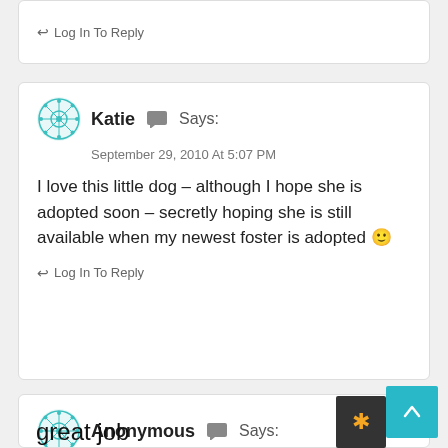↩ Log In To Reply
Katie 💬 Says:
September 29, 2010 At 5:07 PM
I love this little dog – although I hope she is adopted soon – secretly hoping she is still available when my newest foster is adopted 🙂
↩ Log In To Reply
Anonymous 💬 Says:
September 29, 2010 At 5:55 PM
great job